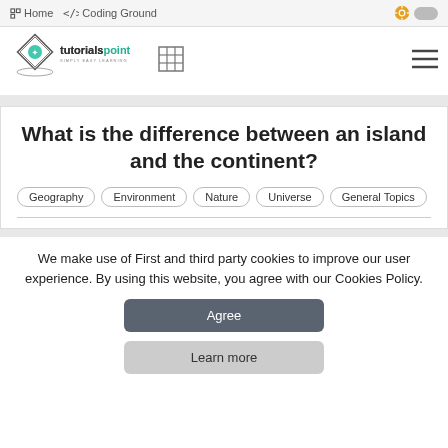Home   Coding Ground
[Figure (logo): tutorialspoint SIMPLY EASY LEARNING logo with diamond and graduation cap icon]
What is the difference between an island and the continent?
Geography
Environment
Nature
Universe
General Topics
We make use of First and third party cookies to improve our user experience. By using this website, you agree with our Cookies Policy.
Agree
Learn more